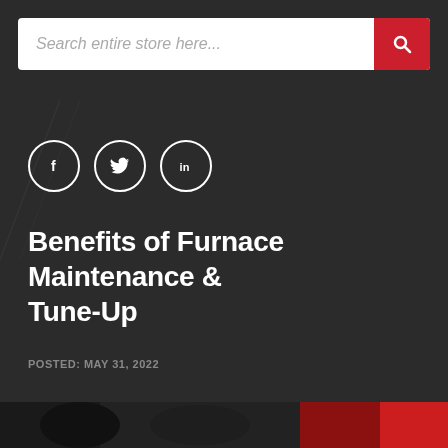[Figure (screenshot): Search bar with placeholder text 'Search entire store here...' and a red search button with magnifying glass icon]
[Figure (infographic): Three social media icon circles: Facebook (f), Twitter (bird), LinkedIn (in)]
Benefits of Furnace Maintenance & Tune-Up
POSTED: MAY 31, 2022
[Figure (photo): Partial photo strip at bottom of page showing dark mechanical/furnace related imagery with red tones]